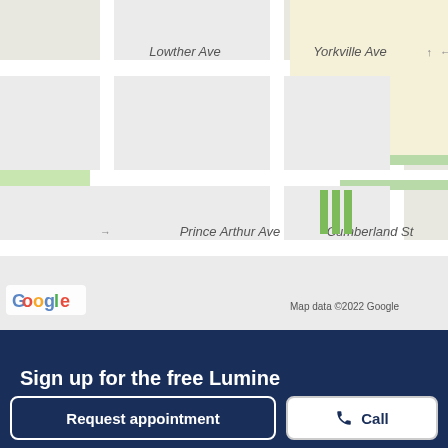[Figure (map): Google Maps screenshot showing Lowther Ave, Yorkville Ave, Prince Arthur Ave, Cumberland St area in Toronto. Map data ©2022 Google.]
55 Avenue Road, Suite 2000A, Toronto, ON M5R 3L2
Directions
Visit website
Sign up for the free Lumine
Request appointment
Call